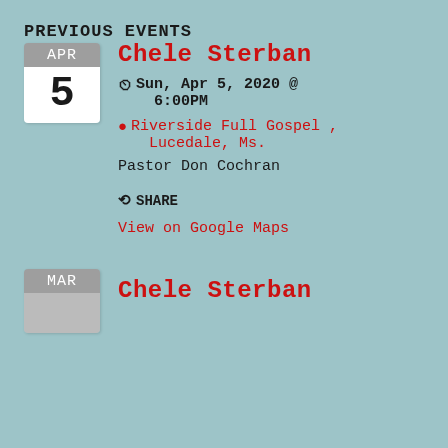PREVIOUS EVENTS
Chele Sterban
Sun, Apr 5, 2020 @ 6:00PM
Riverside Full Gospel , Lucedale, Ms.
Pastor Don Cochran
SHARE
View on Google Maps
Chele Sterban